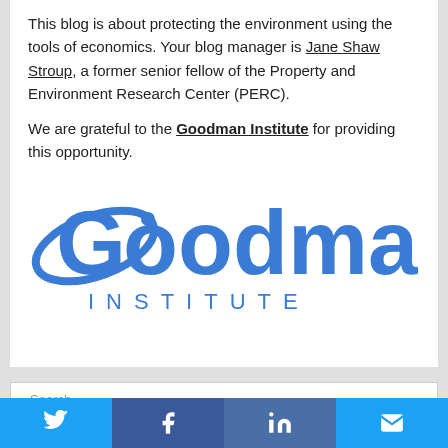This blog is about protecting the environment using the tools of economics. Your blog manager is Jane Shaw Stroup, a former senior fellow of the Property and Environment Research Center (PERC).
We are grateful to the Goodman Institute for providing this opportunity.
[Figure (logo): Goodman Institute logo in blue, with a stylized orbit ring around the letter G, and 'INSTITUTE' in spaced capitals below 'Goodman']
Twitter | Facebook | LinkedIn | Email social share buttons